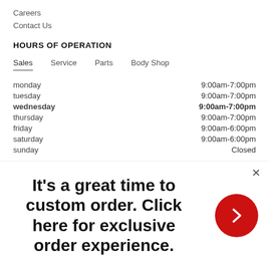Careers
Contact Us
HOURS OF OPERATION
|  |  |
| --- | --- |
| monday | 9:00am-7:00pm |
| tuesday | 9:00am-7:00pm |
| wednesday | 9:00am-7:00pm |
| thursday | 9:00am-7:00pm |
| friday | 9:00am-6:00pm |
| saturday | 9:00am-6:00pm |
| sunday | Closed |
It's a great time to custom order. Click here for exclusive order experience.